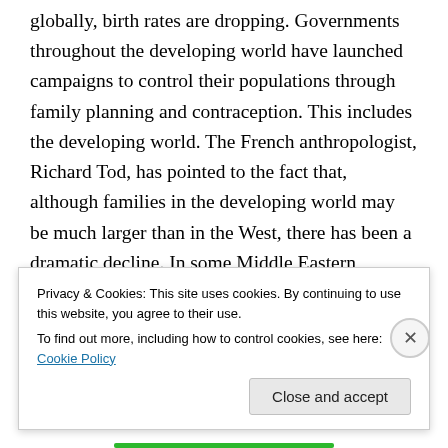globally, birth rates are dropping. Governments throughout the developing world have launched campaigns to control their populations through family planning and contraception. This includes the developing world. The French anthropologist, Richard Tod, has pointed to the fact that, although families in the developing world may be much larger than in the West, there has been a dramatic decline. In some Middle Eastern nations, such as those of the former Soviet central Asian republics like Azerbaijan, for example, the birth rates are comparable to those of Western Europe. In Britain, about half the above average
Privacy & Cookies: This site uses cookies. By continuing to use this website, you agree to their use.
To find out more, including how to control cookies, see here: Cookie Policy